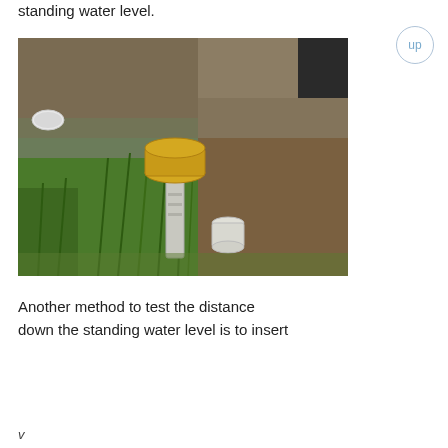standing water level.
[Figure (photo): Outdoor photograph showing PVC pipes or measurement equipment inserted into soil/ground, with grass on the left side and bare earth on the right side. A yellow cylindrical object (possibly a cap or sensor) sits on top of one pipe, and a white cylindrical cup or cap is visible on a shorter pipe nearby. A small white disc is visible in the upper left.]
Another method to test the distance down the standing water level is to insert
v